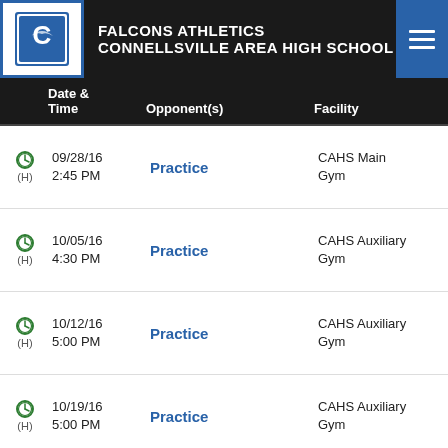FALCONS ATHLETICS CONNELLSVILLE AREA HIGH SCHOOL
|  | Date & Time | Opponent(s) | Facility |
| --- | --- | --- | --- |
| (H) | 09/28/16 2:45 PM | Practice | CAHS Main Gym |
| (H) | 10/05/16 4:30 PM | Practice | CAHS Auxiliary Gym |
| (H) | 10/12/16 5:00 PM | Practice | CAHS Auxiliary Gym |
| (H) | 10/19/16 5:00 PM | Practice | CAHS Auxiliary Gym |
| (H) | 10/26/16 7:00 PM | Practice | CAHS Auxiliary Gym |